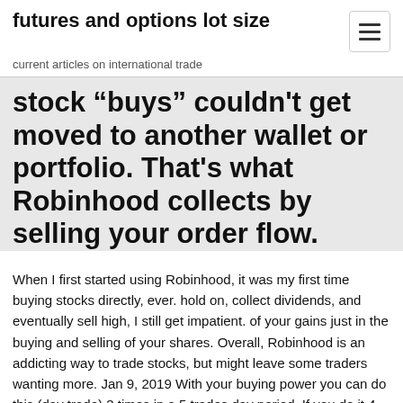futures and options lot size
current articles on international trade
stock “buys” couldn't get moved to another wallet or portfolio. That's what Robinhood collects by selling your order flow.
When I first started using Robinhood, it was my first time buying stocks directly, ever. hold on, collect dividends, and eventually sell high, I still get impatient. of your gains just in the buying and selling of your shares. Overall, Robinhood is an addicting way to trade stocks, but might leave some traders wanting more. Jan 9, 2019 With your buying power you can do this (day trade) 3 times in a 5 trades day period. If you do it 4 times you will be a pattern day trader and won't be allowed to   May 20, 2018 The table below illustrates how your cost basis can affect how